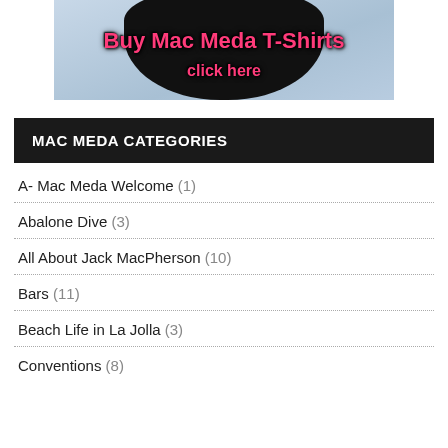[Figure (illustration): Banner image with a dark bird/figure on a light blue-grey background. Text overlay reads 'Buy Mac Meda T-Shirts' and 'click here' in pink/magenta bold font.]
MAC MEDA CATEGORIES
A- Mac Meda Welcome (1)
Abalone Dive (3)
All About Jack MacPherson (10)
Bars (11)
Beach Life in La Jolla (3)
Conventions (8)